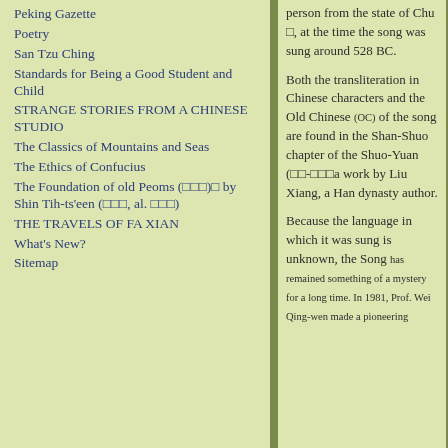Peking Gazette
Poetry
San Tzu Ching
Standards for Being a Good Student and Child
STRANGE STORIES FROM A CHINESE STUDIO
The Classics of Mountains and Seas
The Ethics of Confucius
The Foundation of old Peoms (□□□)□ by Shin Tih-ts'een (□□□, al. □□□)
THE TRAVELS OF FA XIAN
What's New?
Sitemap
person from the state of Chu □, at the time the song was sung around 528 BC.
Both the transliteration in Chinese characters and the Old Chinese (OC) of the song are found in the Shan-Shuo chapter of the Shuo-Yuan (□□-□□□a work by Liu Xiang, a Han dynasty author.
Because the language in which it was sung is unknown, the Song has remained something of a mystery for a long time. In 1981, Prof. Wei Qing-wen made a pioneering